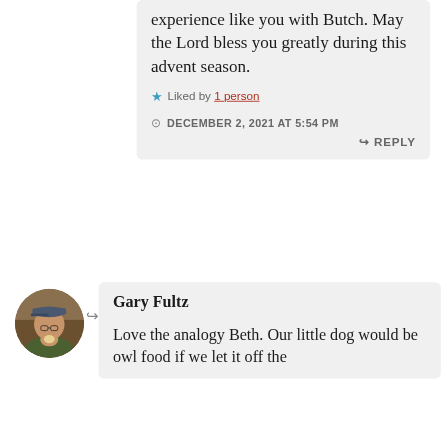experience like you with Butch. May the Lord bless you greatly during this advent season.
★ Liked by 1 person
DECEMBER 2, 2021 AT 5:54 PM
↳ REPLY
[Figure (photo): Circular avatar photo of Gary Fultz, a man wearing a cap and glasses, eating or holding something to his mouth]
Gary Fultz
Love the analogy Beth. Our little dog would be owl food if we let it off the